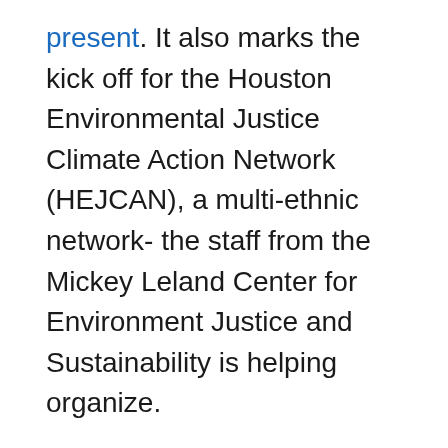present. It also marks the kick off for the Houston Environmental Justice Climate Action Network (HEJCAN), a multi-ethnic network- the staff from the Mickey Leland Center for Environment Justice and Sustainability is helping organize.
The theme of the roundtable focuses on the efforts Houston is making to become a more resilient, sustainable and environmentally just city in the face of extreme weather and other climate change impacts. The roundtable will also highlight the climate gap, inequity, social vulnerability, and environmental challenges that burden low-income and people of color